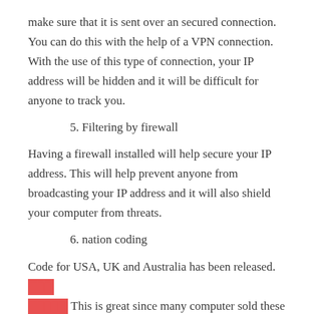make sure that it is sent over an secured connection. You can do this with the help of a VPN connection. With the use of this type of connection, your IP address will be hidden and it will be difficult for anyone to track you.
5. Filtering by firewall
Having a firewall installed will help secure your IP address. This will help prevent anyone from broadcasting your IP address and it will also shield your computer from threats.
6. nation coding
Code for USA, UK and Australia has been released. [REDACTED] This is great since many computer sold these